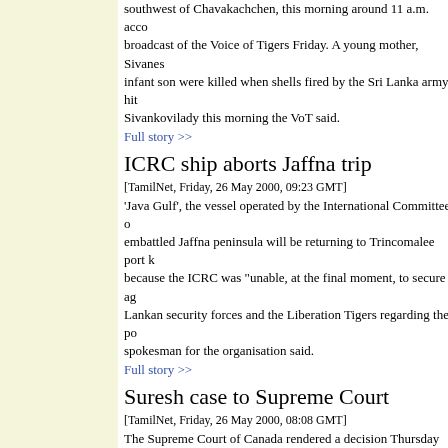southwest of Chavakachchen, this morning around 11 a.m. according to a broadcast of the Voice of Tigers Friday. A young mother, Sivanesa and her infant son were killed when shells fired by the Sri Lanka army hit a house in Sivankovilady this morning the VoT said.
Full story >>
ICRC ship aborts Jaffna trip
[TamilNet, Friday, 26 May 2000, 09:23 GMT]
'Java Gulf', the vessel operated by the International Committee o... embattled Jaffna peninsula will be returning to Trincomalee port k... because the ICRC was "unable, at the final moment, to secure ag... Lankan security forces and the Liberation Tigers regarding the po... spokesman for the organisation said.
Full story >>
Suresh case to Supreme Court
[TamilNet, Friday, 26 May 2000, 08:08 GMT]
The Supreme Court of Canada rendered a decision Thursday tha... Suresh, a recognised Convention refugee from Sri Lanka can pro... before it, legal sources said. In granting leave, the Supreme Cou... to Suresh.
Full story >>
Group claims Norway embassy bombing
[TamilNet, Thursday, 25 May 2000, 17:17 GMT]
A group calling itself as National Front Against Tigers (NFAT) clai... grenades attack on the well guarded Norwegian mission in Colon... group in a statement faxed to the newspaper offices in Colombo s... government is the "international agent" of the Liberation Tigers. T... responsibility for the outspoken Tamil politician Kumar Ponnamba...
Full story >>
Ranil criticises gagging of press
[TamilNet, Thursday, 25 May 2000, 14:44 GMT]